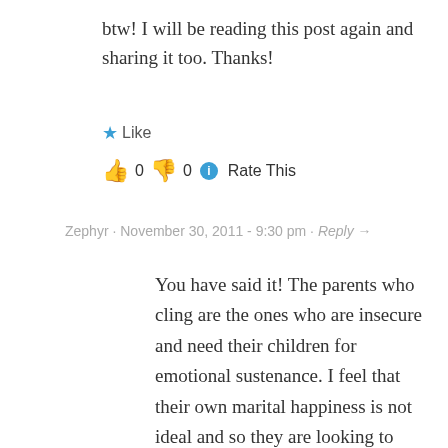btw! I will be reading this post again and sharing it too. Thanks!
★ Like
👍 0 👎 0 ℹ Rate This
Zephyr · November 30, 2011 - 9:30 pm · Reply →
You have said it! The parents who cling are the ones who are insecure and need their children for emotional sustenance. I feel that their own marital happiness is not ideal and so they are looking to their children for emotional fulfilment. Parents like you father is one of the fulfilled ones which is why he can leave